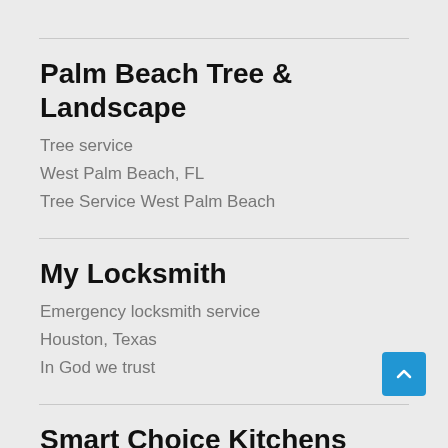Palm Beach Tree & Landscape
Tree service
West Palm Beach, FL
Tree Service West Palm Beach
My Locksmith
Emergency locksmith service
Houston, Texas
In God we trust
Smart Choice Kitchens